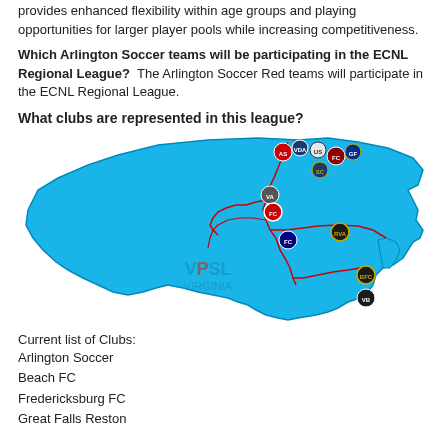With the goal to be at the forefront of player development, the league provides enhanced flexibility within age groups and playing opportunities for larger player pools while increasing competitiveness.
Which Arlington Soccer teams will be participating in the ECNL Regional League? The Arlington Soccer Red teams will participate in the ECNL Regional League.
What clubs are represented in this league?
[Figure (map): Map of Virginia (light blue fill) showing club soccer team logos pinned at various locations across the state, with red road lines. A 'VPSL Virginia' watermark appears in the lower center of the map.]
Current list of Clubs:
Arlington Soccer
Beach FC
Fredericksburg FC
Great Falls Reston